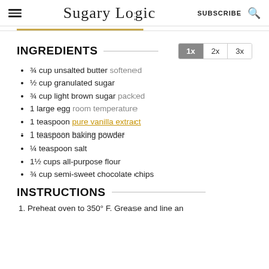Sugary Logic  SUBSCRIBE
INGREDIENTS
¾ cup unsalted butter softened
½ cup granulated sugar
¾ cup light brown sugar packed
1 large egg room temperature
1 teaspoon pure vanilla extract
1 teaspoon baking powder
¼ teaspoon salt
1½ cups all-purpose flour
¾ cup semi-sweet chocolate chips
INSTRUCTIONS
1. Preheat oven to 350° F. Grease and line an